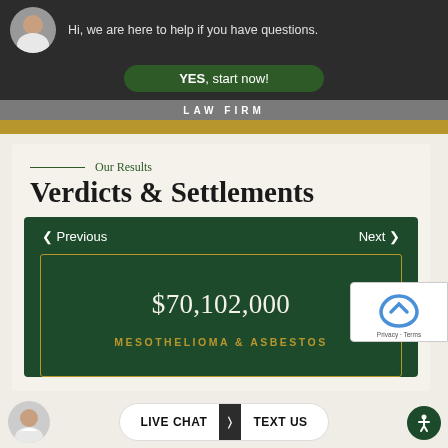[Figure (screenshot): Screenshot of a law firm website showing a chat widget with assistant avatar, YES start now button, LAW FIRM header text, gold stripe, and verdicts & settlements section with $70,102,000 mesothelioma & asbestos case result.]
Hi, we are here to help if you have questions.
YES, start now!
LAW FIRM
Our Results
Verdicts & Settlements
< Previous
Next >
$70,102,000
MESOTHELIOMA & ASBESTOS
LIVE CHAT  TEXT US